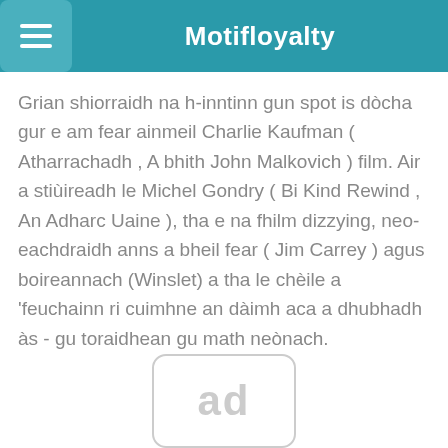Motifloyalty
Grian shiorraidh na h-inntinn gun spot is dòcha gur e am fear ainmeil Charlie Kaufman ( Atharrachadh , A bhith John Malkovich ) film. Air a stiùireadh le Michel Gondry ( Bi Kind Rewind , An Adharc Uaine ), tha e na fhilm dizzying, neo-eachdraidh anns a bheil fear ( Jim Carrey ) agus boireannach (Winslet) a tha le chèile a 'feuchainn ri cuimhne an dàimh aca a dhubhadh às - gu toraidhean gu math neònach.
[Figure (other): Advertisement placeholder showing 'ad' text in a rounded rectangle]